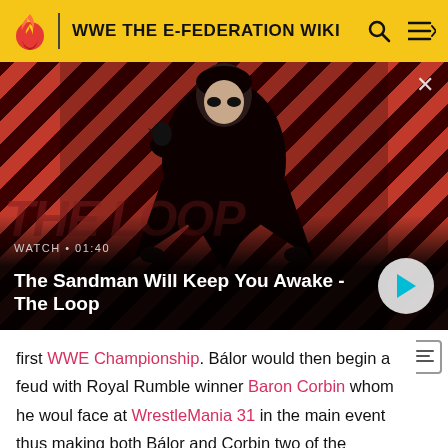WWE THE E-FEDERATION WIKI
[Figure (screenshot): Video thumbnail showing a dark figure with a crow on shoulder against red and dark diagonal striped background. Shows 'WATCH • 01:40' label and title 'The Sandman Will Keep You Awake - The Loop' with a play button circle on the right.]
first WWE Championship. Bálor would then begin a feud with Royal Rumble winner Baron Corbin whom he would face at WrestleMania 31 in the main event thus making both Bálor and Corbin two of the quickest Superstars to headline a Wrestlemania. Bálor would lose the